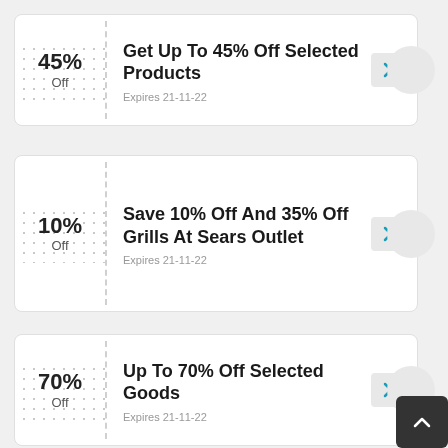45% Off
Get Up To 45% Off Selected Products
Expires 21-11-22
10% Off
Save 10% Off And 35% Off Grills At Sears Outlet
Expires 21-11-22
70% Off
Up To 70% Off Selected Goods
Expires 21-11-22